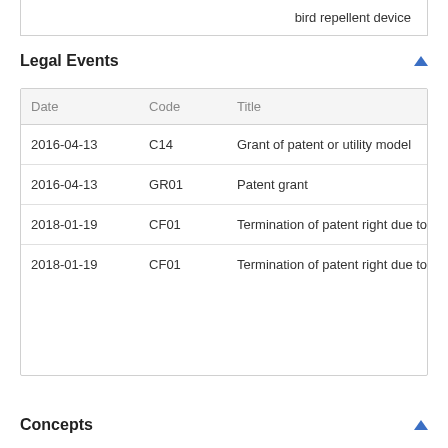bird repellent device
Legal Events
| Date | Code | Title |
| --- | --- | --- |
| 2016-04-13 | C14 | Grant of patent or utility model |
| 2016-04-13 | GR01 | Patent grant |
| 2018-01-19 | CF01 | Termination of patent right due to non-payme |
| 2018-01-19 | CF01 | Termination of patent right due to non-payme |
Concepts